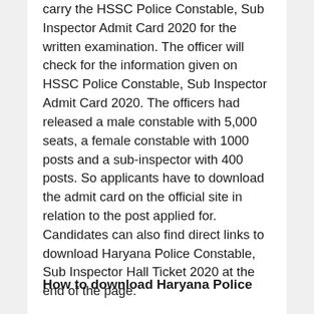carry the HSSC Police Constable, Sub Inspector Admit Card 2020 for the written examination. The officer will check for the information given on HSSC Police Constable, Sub Inspector Admit Card 2020. The officers had released a male constable with 5,000 seats, a female constable with 1000 posts and a sub-inspector with 400 posts. So applicants have to download the admit card on the official site in relation to the post applied for. Candidates can also find direct links to download Haryana Police Constable, Sub Inspector Hall Ticket 2020 at the end of the page.
How to download Haryana Police